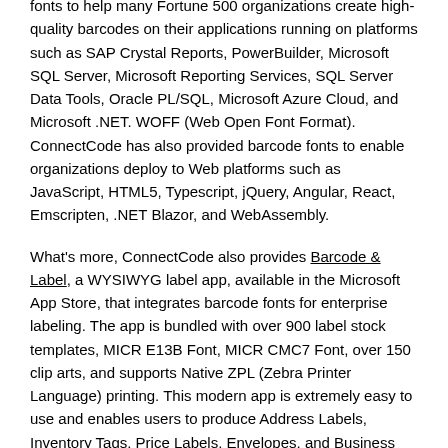fonts to help many Fortune 500 organizations create high-quality barcodes on their applications running on platforms such as SAP Crystal Reports, PowerBuilder, Microsoft SQL Server, Microsoft Reporting Services, SQL Server Data Tools, Oracle PL/SQL, Microsoft Azure Cloud, and Microsoft .NET. WOFF (Web Open Font Format). ConnectCode has also provided barcode fonts to enable organizations deploy to Web platforms such as JavaScript, HTML5, Typescript, jQuery, Angular, React, Emscripten, .NET Blazor, and WebAssembly.
What's more, ConnectCode also provides Barcode & Label, a WYSIWYG label app, available in the Microsoft App Store, that integrates barcode fonts for enterprise labeling. The app is bundled with over 900 label stock templates, MICR E13B Font, MICR CMC7 Font, over 150 clip arts, and supports Native ZPL (Zebra Printer Language) printing. This modern app is extremely easy to use and enables users to produce Address Labels, Inventory Tags, Price Labels, Envelopes, and Business Name